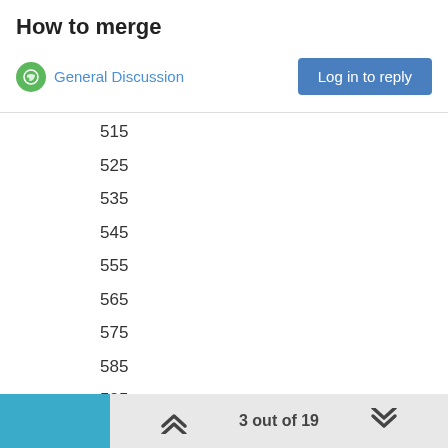How to merge
General Discussion
515
525
535
545
555
565
575
585
595
505
616
626
636
646
656
666
3 out of 19